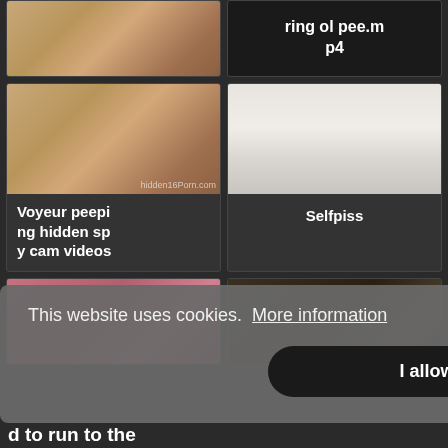[Figure (screenshot): Website screenshot showing video grid thumbnail page with cookie consent banner overlay]
ring ol pee.mp4
[Figure (photo): Thumbnail for Voyeur peeping hidden spy cam videos]
Voyeur peeping hidden spy cam videos
[Figure (photo): Thumbnail for Selfpiss]
Selfpiss
This website uses cookies.  More information
I allow it
d to run to the